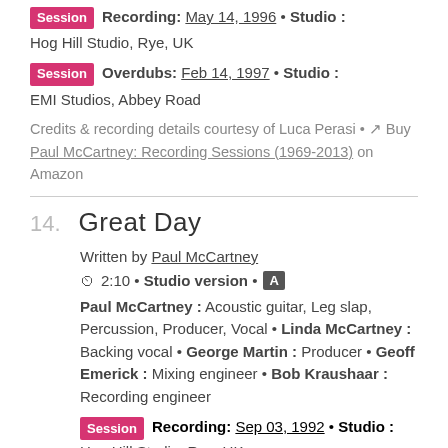Session Recording: May 14, 1996 • Studio : Hog Hill Studio, Rye, UK
Session Overdubs: Feb 14, 1997 • Studio : EMI Studios, Abbey Road
Credits & recording details courtesy of Luca Perasi • Buy Paul McCartney: Recording Sessions (1969-2013) on Amazon
14. Great Day
Written by Paul McCartney
2:10 • Studio version • A
Paul McCartney : Acoustic guitar, Leg slap, Percussion, Producer, Vocal • Linda McCartney : Backing vocal • George Martin : Producer • Geoff Emerick : Mixing engineer • Bob Kraushaar : Recording engineer
Session Recording: Sep 03, 1992 • Studio : Hog Hill Studio, Rye, UK